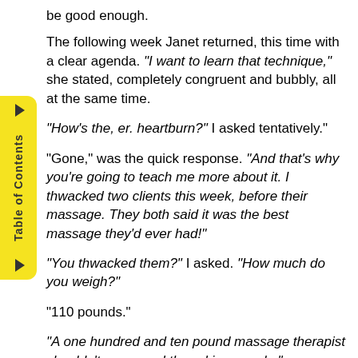be good enough.
The following week Janet returned, this time with a clear agenda. "I want to learn that technique," she stated, completely congruent and bubbly, all at the same time.
"How's the, er. heartburn?" I asked tentatively."
"Gone," was the quick response. "And that's why you're going to teach me more about it. I thwacked two clients this week, before their massage. They both said it was the best massage they'd ever had!"
"You thwacked them?" I asked. "How much do you weigh?"
"110 pounds."
"A one hundred and ten pound massage therapist shouldn't go around thwacking people."